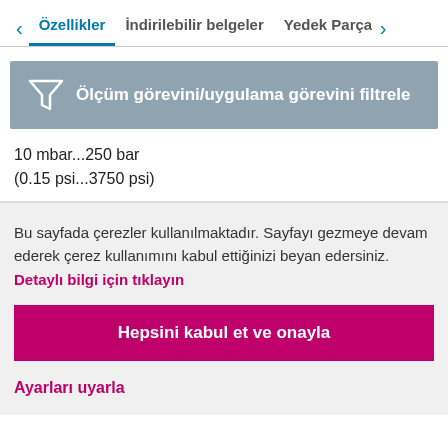< Özellikler | İndirilebilir belgeler | Yedek Parça >
[Figure (other): Filter icon with label: Ölçüm görevini/uygulama görevini filtrele on grey background]
10 mbar...250 bar
(0.15 psi...3750 psi)
Bu sayfada çerezler kullanılmaktadır. Sayfayı gezmeye devam ederek çerez kullanımını kabul ettiğinizi beyan edersiniz. Detaylı bilgi için tıklayın
Hepsini kabul et ve onayla
Ayarları uyarla